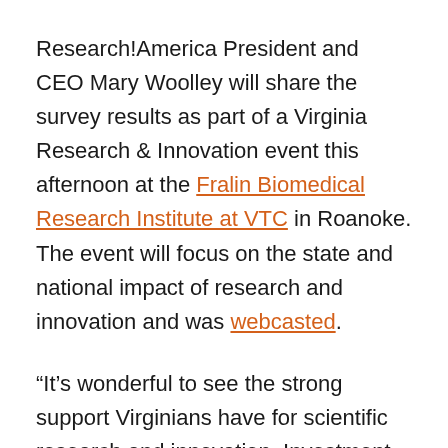Research!America President and CEO Mary Woolley will share the survey results as part of a Virginia Research & Innovation event this afternoon at the Fralin Biomedical Research Institute at VTC in Roanoke. The event will focus on the state and national impact of research and innovation and was webcasted.
“It’s wonderful to see the strong support Virginians have for scientific research and innovation. Investment in research is vital to economic growth, public health, and global